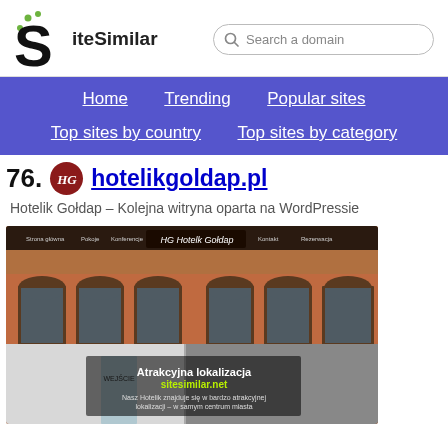[Figure (logo): SiteSimilar logo with stylized S letter and green dots, plus search bar]
[Figure (screenshot): Navigation bar with links: Home, Trending, Popular sites, Top sites by country, Top sites by category on purple background]
76. hotelikgoldap.pl
Hotelik Gołdap – Kolejna witryna oparta na WordPressie
[Figure (screenshot): Screenshot of hotelikgoldap.pl website showing hotel building exterior with arched windows, navigation menu, and sitesimilar.net watermark overlay]